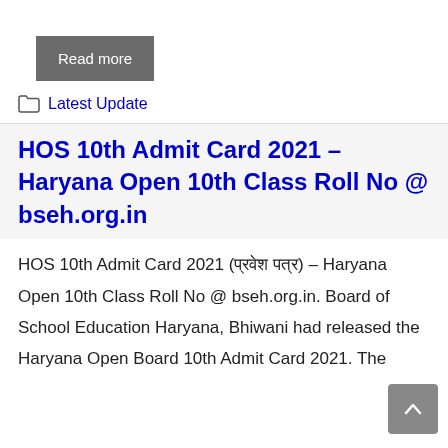[Figure (other): Gray 'Read more' button]
Latest Update
HOS 10th Admit Card 2021 – Haryana Open 10th Class Roll No @ bseh.org.in
HOS 10th Admit Card 2021 (प्रवेश पत्र) – Haryana Open 10th Class Roll No @ bseh.org.in. Board of School Education Haryana, Bhiwani had released the Haryana Open Board 10th Admit Card 2021. The